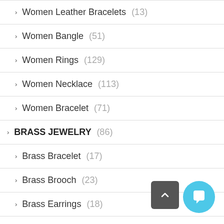Women Leather Bracelets (13)
Women Bangle (51)
Women Rings (129)
Women Necklace (113)
Women Bracelet (71)
BRASS JEWELRY (86)
Brass Bracelet (17)
Brass Brooch (23)
Brass Earrings (18)
Brass Necklace (10)